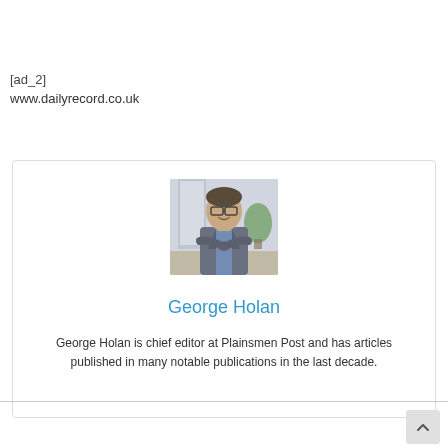[ad_2]
www.dailyrecord.co.uk
[Figure (photo): Professional headshot of a man with glasses in a grey blazer, arms crossed, smiling, with a plant and light background]
George Holan
George Holan is chief editor at Plainsmen Post and has articles published in many notable publications in the last decade.